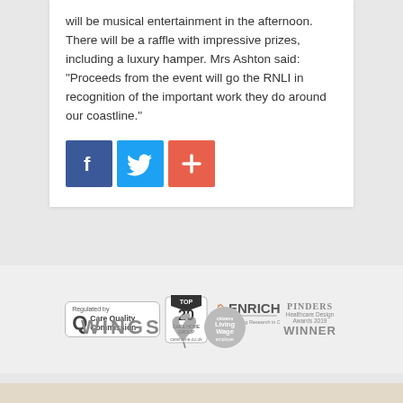will be musical entertainment in the afternoon. There will be a raffle with impressive prizes, including a luxury hamper. Mrs Ashton said: “Proceeds from the event will go the RNLI in recognition of the important work they do around our coastline.”
[Figure (infographic): Three social sharing buttons: Facebook (blue), Twitter (light blue), and a red plus/share button]
[Figure (logo): Footer logos: Care Quality Commission (Regulated by), Top 20 Care Home Group (carehome.co.uk), ENRICH Enabling Research in Care Homes, PINDERS Healthcare Design Awards 2019 WINNER, WINGS with hummingbird logo, Living Wage Employer circle badge]